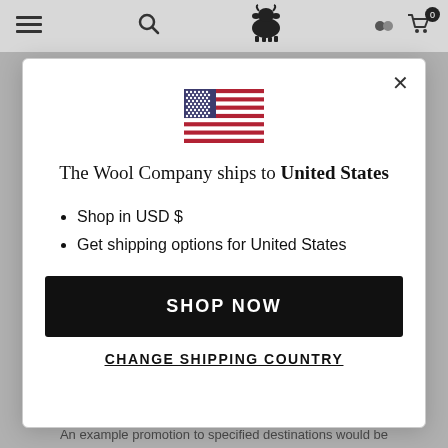[Figure (screenshot): Website navigation bar with hamburger menu, search icon, sheep logo, account icon, and shopping cart with badge showing 0]
[Figure (illustration): US flag icon centered in modal dialog]
The Wool Company ships to United States
Shop in USD $
Get shipping options for United States
SHOP NOW
CHANGE SHIPPING COUNTRY
An example promotion to specified destinations would be